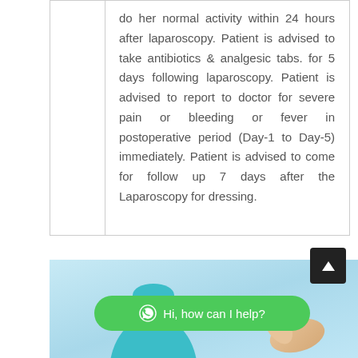do her normal activity within 24 hours after laparoscopy. Patient is advised to take antibiotics & analgesic tabs. for 5 days following laparoscopy. Patient is advised to report to doctor for severe pain or bleeding or fever in postoperative period (Day-1 to Day-5) immediately. Patient is advised to come for follow up 7 days after the Laparoscopy for dressing.
[Figure (photo): Medical/surgical scene showing a person in surgical scrubs and cap, partial view of a medical professional]
[Figure (other): Dark scroll-to-top button with upward arrow]
[Figure (other): Green rounded WhatsApp chat button with text 'Hi, how can I help?']